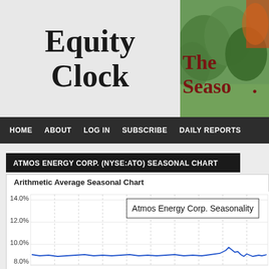Equity Clock
[Figure (illustration): The Seaso... banner with nature/seasonal imagery (trees, leaves) background]
HOME   ABOUT   LOG IN   SUBSCRIBE   DAILY REPORTS
ATMOS ENERGY CORP. (NYSE:ATO) SEASONAL CHART
Arithmetic Average Seasonal Chart
[Figure (line-chart): Line chart showing Atmos Energy Corp. seasonality with y-axis values from 8.0% to 14.0%. The line trends upward at the far right around 8.0%-8.5% range.]